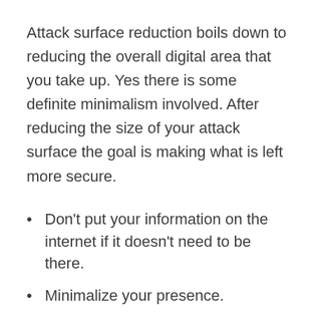Attack surface reduction boils down to reducing the overall digital area that you take up. Yes there is some definite minimalism involved. After reducing the size of your attack surface the goal is making what is left more secure.
Don't put your information on the internet if it doesn't need to be there.
Minimalize your presence.
Minimalize your accounts.
Minimalize your apps.
Minimalize your connected devices.
Minimalize your operating system set up.